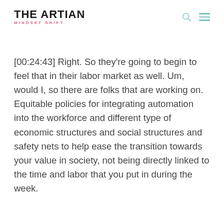THE ARTIAN MINDSET SHIFT
[00:24:43] Right. So they're going to begin to feel that in their labor market as well. Um, would I, so there are folks that are working on. Equitable policies for integrating automation into the workforce and different type of economic structures and social structures and safety nets to help ease the transition towards your value in society, not being directly linked to the time and labor that you put in during the week.